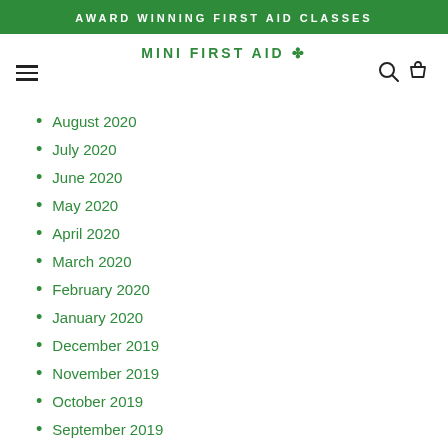AWARD WINNING FIRST AID CLASSES
MINI FIRST AID
August 2020
July 2020
June 2020
May 2020
April 2020
March 2020
February 2020
January 2020
December 2019
November 2019
October 2019
September 2019
August 2019